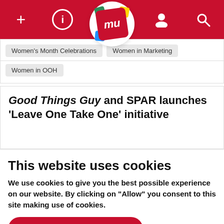[Figure (screenshot): Website navigation bar with red background showing plus, info, mu logo, person, and search icons]
Women's Month Celebrations
Women in Marketing
Women in OOH
Good Things Guy and SPAR launches 'Leave One Take One' initiative
This website uses cookies
We use cookies to give you the best possible experience on our website. By clicking on "Allow" you consent to this site making use of cookies.
Allow